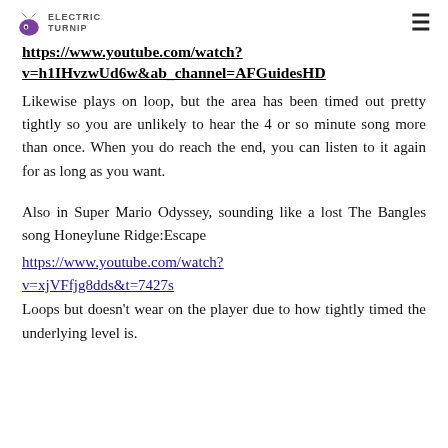Electric Turnip logo and navigation
https://www.youtube.com/watch?v=h1IHvzwUd6w&ab_channel=AFGuidesHD
Likewise plays on loop, but the area has been timed out pretty tightly so you are unlikely to hear the 4 or so minute song more than once. When you do reach the end, you can listen to it again for as long as you want.
Also in Super Mario Odyssey, sounding like a lost The Bangles song Honeylune Ridge:Escape
https://www.youtube.com/watch?v=xjVFfjg8dds&t=7427s
Loops but doesn't wear on the player due to how tightly timed the underlying level is.